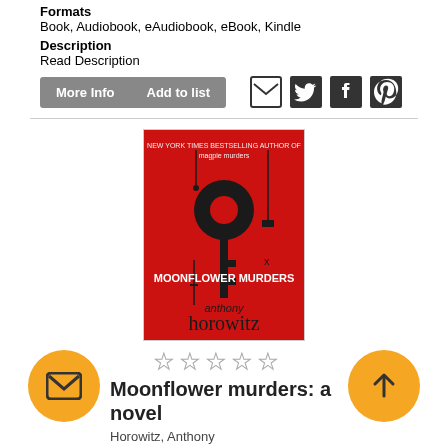Formats
Book, Audiobook, eAudiobook, eBook, Kindle
Description
Read Description
[Figure (screenshot): Buttons: More Info, Add to list, and social sharing icons (email, twitter, facebook, pinterest)]
[Figure (photo): Book cover of Moonflower Murders by Anthony Horowitz — red cover with large black key graphic]
[Figure (other): Five empty star rating icons]
Moonflower murders: a novel
Horowitz, Anthony